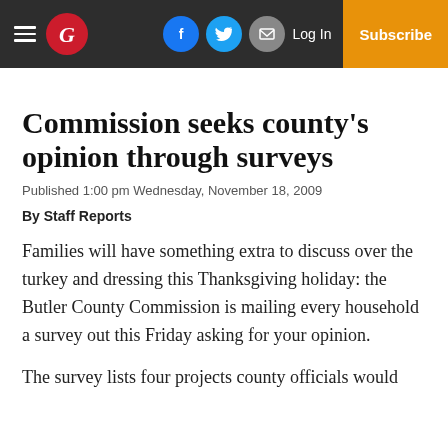Navigation bar with hamburger menu, G logo, social icons (Facebook, Twitter, Email), Log In, Subscribe
Commission seeks county's opinion through surveys
Published 1:00 pm Wednesday, November 18, 2009
By Staff Reports
Families will have something extra to discuss over the turkey and dressing this Thanksgiving holiday: the Butler County Commission is mailing every household a survey out this Friday asking for your opinion.
The survey lists four projects county officials would